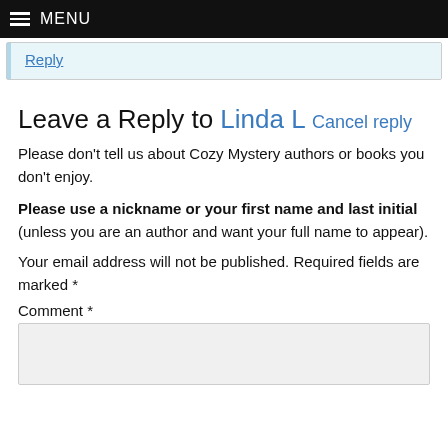MENU
Reply
Leave a Reply to Linda L Cancel reply
Please don't tell us about Cozy Mystery authors or books you don't enjoy.
Please use a nickname or your first name and last initial (unless you are an author and want your full name to appear).
Your email address will not be published. Required fields are marked *
Comment *